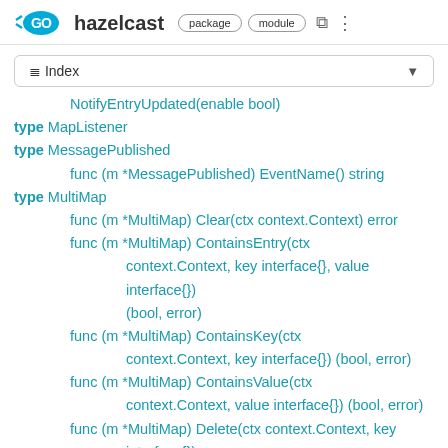GO hazelcast package module
≡ Index ▼
NotifyEntryUpdated(enable bool)
type MapListener
type MessagePublished
func (m *MessagePublished) EventName() string
type MultiMap
func (m *MultiMap) Clear(ctx context.Context) error
func (m *MultiMap) ContainsEntry(ctx context.Context, key interface{}, value interface{}) (bool, error)
func (m *MultiMap) ContainsKey(ctx context.Context, key interface{}) (bool, error)
func (m *MultiMap) ContainsValue(ctx context.Context, value interface{}) (bool, error)
func (m *MultiMap) Delete(ctx context.Context, key interface{}) error